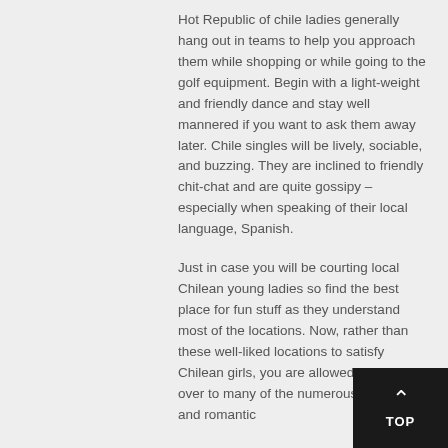Hot Republic of chile ladies generally hang out in teams to help you approach them while shopping or while going to the golf equipment. Begin with a light-weight and friendly dance and stay well mannered if you want to ask them away later. Chile singles will be lively, sociable, and buzzing. They are inclined to friendly chit-chat and are quite gossipy – especially when speaking of their local language, Spanish.
Just in case you will be courting local Chilean young ladies so find the best place for fun stuff as they understand most of the locations. Now, rather than these well-liked locations to satisfy Chilean girls, you are allowed to head over to many of the numerous drink bars and romantic